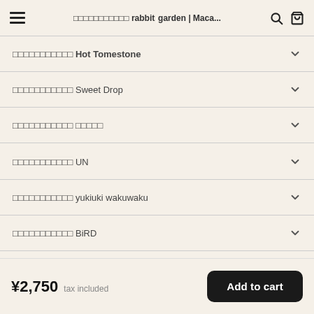□□□□□□□□□□□ rabbit garden | Maca...
□□□□□□□□□□□ Hot Tomestone
□□□□□□□□□□□ Sweet Drop
□□□□□□□□□□□ □□□□□
□□□□□□□□□□□ UN
□□□□□□□□□□□ yukiuki wakuwaku
□□□□□□□□□□□ BiRD
□□□□□□□□□□□  ryu-tete
¥2,750 tax included  Add to cart